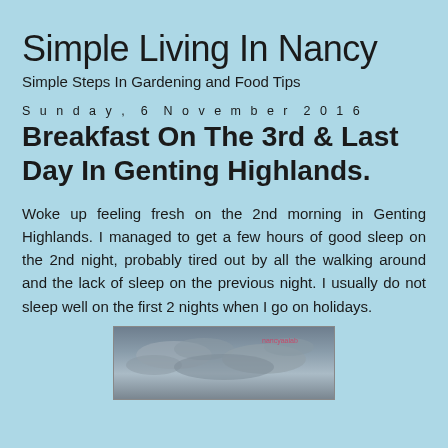Simple Living In Nancy
Simple Steps In Gardening and Food Tips
Sunday, 6 November 2016
Breakfast On The 3rd & Last Day In Genting Highlands.
Woke up feeling fresh on the 2nd morning in Genting Highlands. I managed to get a few hours of good sleep on the 2nd night, probably tired out by all the walking around and the lack of sleep on the previous night. I usually do not sleep well on the first 2 nights when I go on holidays.
[Figure (photo): A photo of a cloudy sky, partially visible at the bottom of the page, with a small watermark text in pink.]